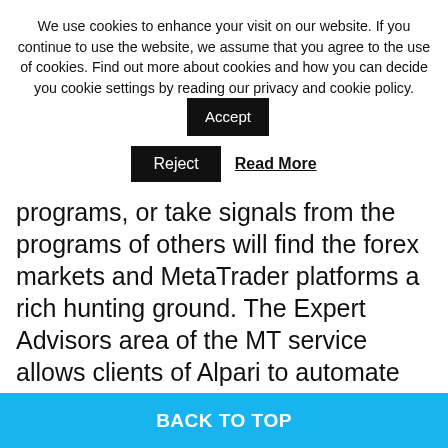We use cookies to enhance your visit on our website. If you continue to use the website, we assume that you agree to the use of cookies. Find out more about cookies and how you can decide you cookie settings by reading our privacy and cookie policy.
programs, or take signals from the programs of others will find the forex markets and MetaTrader platforms a rich hunting ground. The Expert Advisors area of the MT service allows clients of Alpari to automate their trading by following the signals of others.
MOBILE TRADING
Both of the MetaTrader platforms, MT4 and
BACK TO TOP